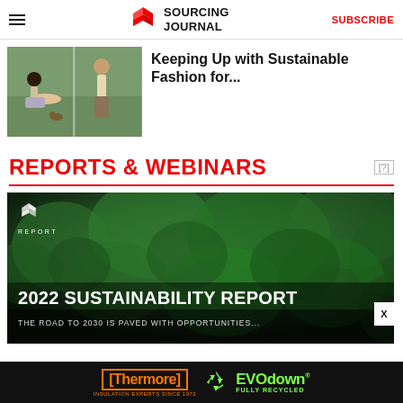Sourcing Journal | SUBSCRIBE
[Figure (photo): Two models in casual sustainable fashion clothing outdoors]
Keeping Up with Sustainable Fashion for...
REPORTS & WEBINARS
[Figure (photo): 2022 Sustainability Report banner with aerial forest background. REPORT icon top left. Title: 2022 SUSTAINABILITY REPORT. Subtitle: THE ROAD TO 2030 IS PAVED WITH OPPORTUNITIES...]
[Figure (logo): Thermore Insulation Experts Since 1972 logo and EVOdown Fully Recycled logo on dark ad banner]